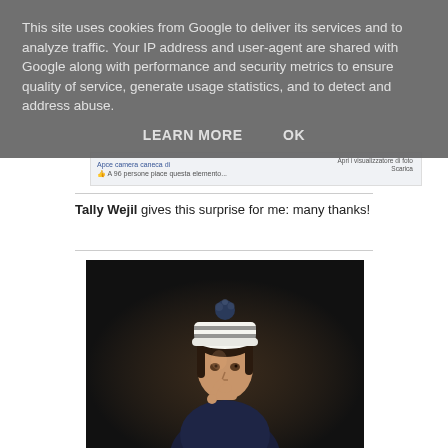This site uses cookies from Google to deliver its services and to analyze traffic. Your IP address and user-agent are shared with Google along with performance and security metrics to ensure quality of service, generate usage statistics, and to detect and address abuse.
LEARN MORE   OK
[Figure (screenshot): Facebook post strip showing Italian text and like button]
Tally Wejil gives this surprise for me: many thanks!
[Figure (photo): Young woman wearing a striped knit beanie hat with pom-pom, posing with finger to lips against a dark background]